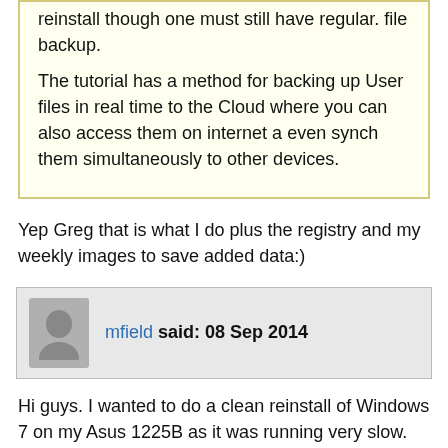reinstall though one must still have regular. file backup.

The tutorial has a method for backing up User files in real time to the Cloud where you can also access them on internet a even synch them simultaneously to other devices.
Yep Greg that is what I do plus the registry and my weekly images to save added data:)
mfield said: 08 Sep 2014
Hi guys. I wanted to do a clean reinstall of Windows 7 on my Asus 1225B as it was running very slow. The only